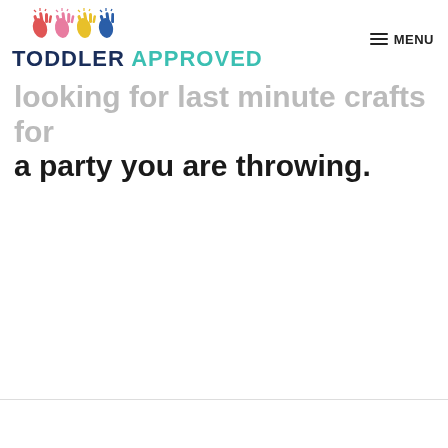TODDLER APPROVED — MENU
looking for last minute crafts for a party you are throwing.